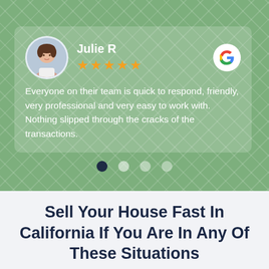[Figure (screenshot): Green chevron/zigzag patterned background with a testimonial review card. Card shows reviewer Julie R with avatar photo, 5 orange stars, Google G logo, and review text. Below are 4 pagination dots (first dot dark, rest light). Below the green section is a light gray area with a bold dark navy headline.]
Julie R
★★★★★
Everyone on their team is quick to respond, friendly, very professional and very easy to work with. Nothing slipped through the cracks of the transactions.
Sell Your House Fast In California If You Are In Any Of These Situations